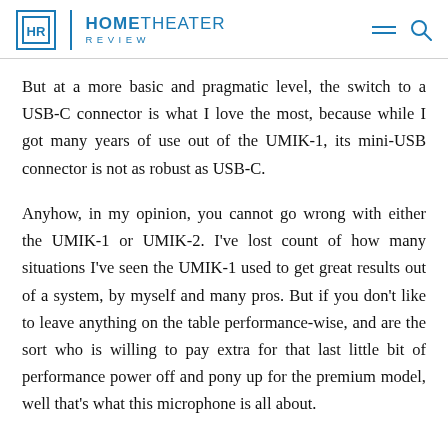HOME THEATER REVIEW
But at a more basic and pragmatic level, the switch to a USB-C connector is what I love the most, because while I got many years of use out of the UMIK-1, its mini-USB connector is not as robust as USB-C.
Anyhow, in my opinion, you cannot go wrong with either the UMIK-1 or UMIK-2. I've lost count of how many situations I've seen the UMIK-1 used to get great results out of a system, by myself and many pros. But if you don't like to leave anything on the table performance-wise, and are the sort who is willing to pay extra for that last little bit of performance power off and pony up for the premium model, well that's what this microphone is all about.